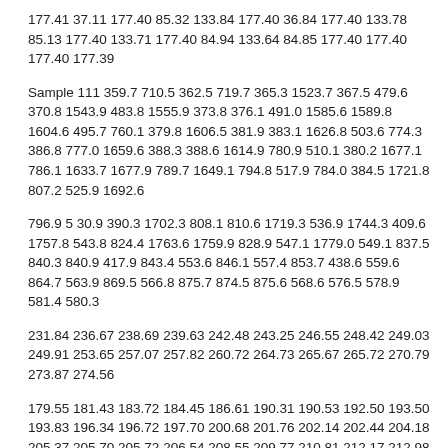177.41 37.11 177.40 85.32 133.84 177.40 36.84 177.40 133.78 85.13 177.40 133.71 177.40 84.94 133.64 84.85 177.40 177.40 177.40 177.39
Sample 111 359.7 710.5 362.5 719.7 365.3 1523.7 367.5 479.6 370.8 1543.9 483.8 1555.9 373.8 376.1 491.0 1585.6 1589.8 1604.6 495.7 760.1 379.8 1606.5 381.9 383.1 1626.8 503.6 774.3 386.8 777.0 1659.6 388.3 388.6 1614.9 780.9 510.1 380.2 1677.1 786.1 1633.7 1677.9 789.7 1649.1 794.8 517.9 784.0 384.5 1721.8 807.2 525.9 1692.6
796.9 5 30.9 390.3 1702.3 808.1 810.6 1719.3 536.9 1744.3 409.6 1757.8 543.8 824.4 1763.6 1759.9 828.9 547.1 1779.0 549.1 837.5 840.3 840.9 417.9 843.4 553.6 846.1 557.4 853.7 438.6 559.6 864.7 563.9 869.5 566.8 875.7 874.5 875.6 568.6 576.5 578.9 581.4 580.3
231.84 236.67 238.69 239.63 242.48 243.25 246.55 248.42 249.03 249.91 253.65 257.07 257.82 260.72 264.73 265.67 265.72 270.79 273.87 274.56
179.55 181.43 183.72 184.45 186.61 190.31 190.53 192.50 193.50 193.83 196.34 196.72 197.70 200.68 201.76 202.14 202.44 204.18 205.37 205.70 205.72 206.54 208.55 209.77 210.81 212.17 212.98 21 3.69 214.64 214.92 215.60 216.33 216.36 216.60 218.35 220.12 220.28 220.39 220.69 220.97 222.17 223.50 224.87 225.01 225.14 228.29 229.71